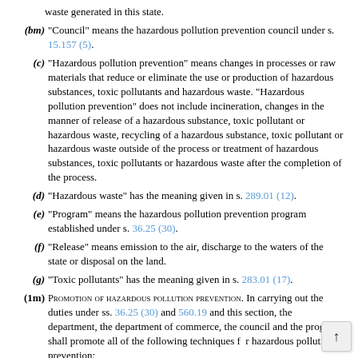waste generated in this state.
(bm) "Council" means the hazardous pollution prevention council under s. 15.157 (5).
(c) "Hazardous pollution prevention" means changes in processes or raw materials that reduce or eliminate the use or production of hazardous substances, toxic pollutants and hazardous waste. "Hazardous pollution prevention" does not include incineration, changes in the manner of release of a hazardous substance, toxic pollutant or hazardous waste, recycling of a hazardous substance, toxic pollutant or hazardous waste outside of the process or treatment of hazardous substances, toxic pollutants or hazardous waste after the completion of the process.
(d) "Hazardous waste" has the meaning given in s. 289.01 (12).
(e) "Program" means the hazardous pollution prevention program established under s. 36.25 (30).
(f) "Release" means emission to the air, discharge to the waters of the state or disposal on the land.
(g) "Toxic pollutants" has the meaning given in s. 283.01 (17).
(1m) PROMOTION OF HAZARDOUS POLLUTION PREVENTION. In carrying out the duties under ss. 36.25 (30) and 560.19 and this section, the department, the department of commerce, the council and the program shall promote all of the following techniques for hazardous pollution prevention: